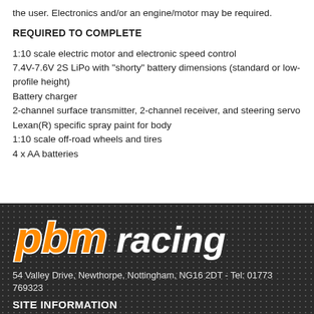the user. Electronics and/or an engine/motor may be required.
REQUIRED TO COMPLETE
1:10 scale electric motor and electronic speed control
7.4V-7.6V 2S LiPo with "shorty" battery dimensions (standard or low-profile height)
Battery charger
2-channel surface transmitter, 2-channel receiver, and steering servo
Lexan(R) specific spray paint for body
1:10 scale off-road wheels and tires
4 x AA batteries
[Figure (logo): PBM Racing logo with orange and white text on dark background]
54 Valley Drive, Newthorpe, Nottingham, NG16 2DT - Tel: 01773 769323
SITE INFORMATION